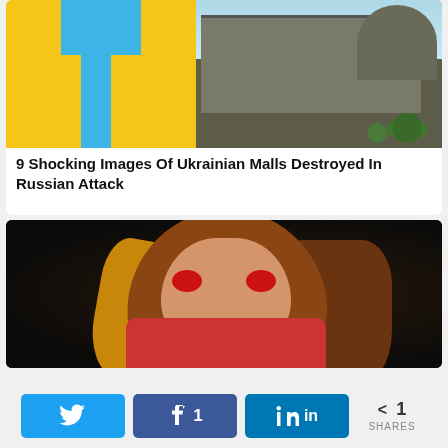[Figure (photo): News article card with two images: left side shows Ukrainian blue and yellow flag design, right side shows a destroyed/burned building (mall), with article title below]
9 Shocking Images Of Ukrainian Malls Destroyed In Russian Attack
[Figure (illustration): Illustrated/animated character: a brown-haired girl with red glowing eyes and an angry expression, wearing a red outfit, on dark background]
< 1 SHARES